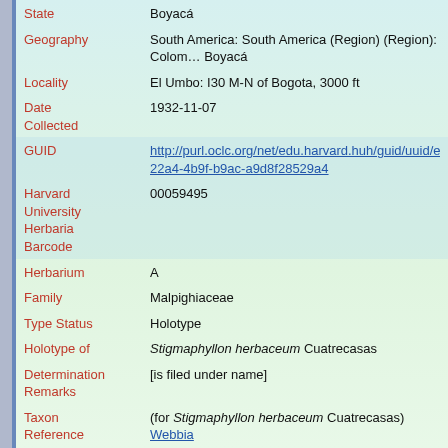| Field | Value |
| --- | --- |
| State | Boyacá |
| Geography | South America: South America (Region) (Region): Colombia: Boyacá |
| Locality | El Umbo: I30 M-N of Bogota, 3000 ft |
| Date Collected | 1932-11-07 |
| GUID | http://purl.oclc.org/net/edu.harvard.huh/guid/uuid/edc...22a4-4b9f-b9ac-a9d8f28529a4 |
| Harvard University Herbaria Barcode | 00059495 |
| Herbarium | A |
| Family | Malpighiaceae |
| Type Status | Holotype |
| Holotype of | Stigmaphyllon herbaceum Cuatrecasas |
| Determination Remarks | [is filed under name] |
| Taxon Reference | (for Stigmaphyllon herbaceum Cuatrecasas) Webbia 13: 532. |
| Sex | not determined |
| Phenology | FlowerAndFruit |